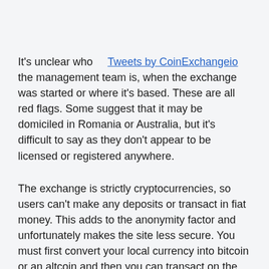It's unclear who Tweets by CoinExchangeio the management team is, when the exchange was started or where it's based. These are all red flags. Some suggest that it may be domiciled in Romania or Australia, but it's difficult to say as they don't appear to be licensed or registered anywhere.
The exchange is strictly cryptocurrencies, so users can't make any deposits or transact in fiat money. This adds to the anonymity factor and unfortunately makes the site less secure. You must first convert your local currency into bitcoin or an altcoin and then you can transact on the Coinexchange.io site. The exchange supports hundreds of cryptocurrency trading pairs.
Coinexchange.io competes with trading platforms like of Bittrex for the vast number